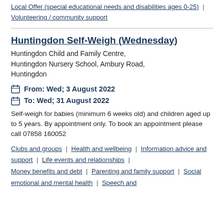Local Offer (special educational needs and disabilities ages 0-25) | Volunteering / community support
Huntingdon Self-Weigh (Wednesday)
Huntingdon Child and Family Centre, Huntingdon Nursery School, Ambury Road, Huntingdon
From: Wed; 3 August 2022
To: Wed; 31 August 2022
Self-weigh for babies (minimum 6 weeks old) and children aged up to 5 years. By appointment only. To book an appointment please call 07858 160052
Clubs and groups | Health and wellbeing | Information advice and support | Life events and relationships | Money benefits and debt | Parenting and family support | Social emotional and mental health | Speech and